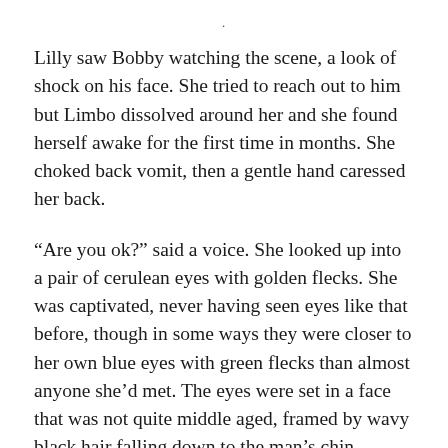Lilly saw Bobby watching the scene, a look of shock on his face. She tried to reach out to him but Limbo dissolved around her and she found herself awake for the first time in months. She choked back vomit, then a gentle hand caressed her back.
“Are you ok?” said a voice. She looked up into a pair of cerulean eyes with golden flecks. She was captivated, never having seen eyes like that before, though in some ways they were closer to her own blue eyes with green flecks than almost anyone she’d met. The eyes were set in a face that was not quite middle aged, framed by wavy black hair falling down to the man’s chin.